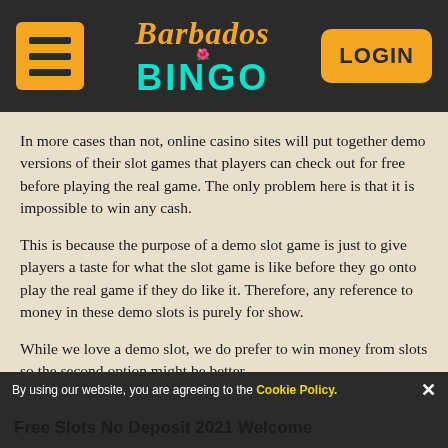[Figure (logo): Barbados Bingo website header with hamburger menu icon on the left, Barbados Bingo logo in the center, and LOGIN button on the right, on dark background]
In more cases than not, online casino sites will put together demo versions of their slot games that players can check out for free before playing the real game. The only problem here is that it is impossible to win any cash.
This is because the purpose of a demo slot game is just to give players a taste for what the slot game is like before they go onto play the real game if they do like it. Therefore, any reference to money in these demo slots is purely for show.
While we love a demo slot, we do prefer to win money from slots so the second option might be better.
By using our website, you are agreeing to the Cookie Policy. ✕
Free Slots No Deposit 2021 Welcome